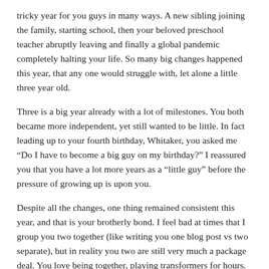tricky year for you guys in many ways. A new sibling joining the family, starting school, then your beloved preschool teacher abruptly leaving and finally a global pandemic completely halting your life. So many big changes happened this year, that any one would struggle with, let alone a little three year old.
Three is a big year already with a lot of milestones. You both became more independent, yet still wanted to be little. In fact leading up to your fourth birthday, Whitaker, you asked me “Do I have to become a big guy on my birthday?” I reassured you that you have a lot more years as a “little guy” before the pressure of growing up is upon you.
Despite all the changes, one thing remained consistent this year, and that is your brotherly bond. I feel bad at times that I group you two together (like writing you one blog post vs two separate), but in reality you two are still very much a package deal. You love being together, playing transformers for hours. When I try to do “special time” with you separately, you both ask where the other one is and why did I leave them at home!?